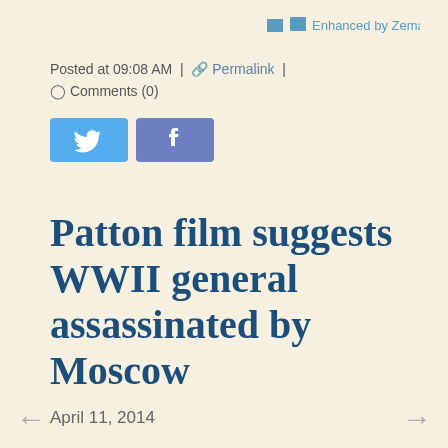[Figure (logo): Enhanced by Zemanta badge/logo in top right corner]
Posted at 09:08 AM | ⚙ Permalink | ○ Comments (0)
[Figure (other): Twitter and Facebook social share buttons]
Patton film suggests WWII general assassinated by Moscow
April 11, 2014